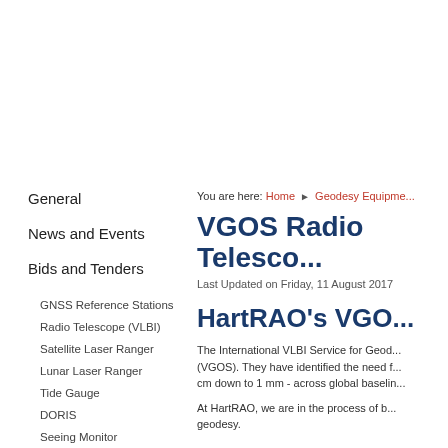General
News and Events
Bids and Tenders
GNSS Reference Stations
Radio Telescope (VLBI)
Satellite Laser Ranger
Lunar Laser Ranger
Tide Gauge
DORIS
Seeing Monitor
You are here: Home ▶ Geodesy Equipme...
VGOS Radio Telesco...
Last Updated on Friday, 11 August 2017
HartRAO's VGO...
The International VLBI Service for Geod... (VGOS). They have identified the need f... cm down to 1 mm - across global baselin...
At HartRAO, we are in the process of b... geodesy.